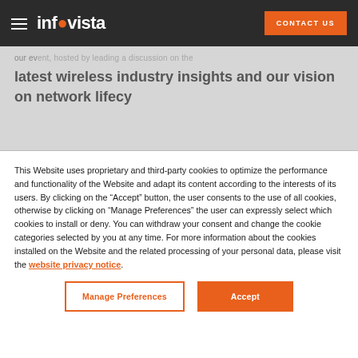infovista | CONTACT US
latest wireless industry insights and our vision on network lifecy
This Website uses proprietary and third-party cookies to optimize the performance and functionality of the Website and adapt its content according to the interests of its users. By clicking on the “Accept” button, the user consents to the use of all cookies, otherwise by clicking on “Manage Preferences” the user can expressly select which cookies to install or deny. You can withdraw your consent and change the cookie categories selected by you at any time. For more information about the cookies installed on the Website and the related processing of your personal data, please visit the website privacy notice.
Manage Preferences | Accept